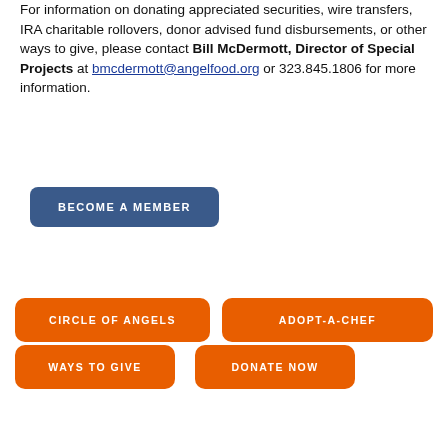For information on donating appreciated securities, wire transfers, IRA charitable rollovers, donor advised fund disbursements, or other ways to give, please contact Bill McDermott, Director of Special Projects at bmcdermott@angelfood.org or 323.845.1806 for more information.
BECOME A MEMBER
CIRCLE OF ANGELS
ADOPT-A-CHEF
WAYS TO GIVE
DONATE NOW